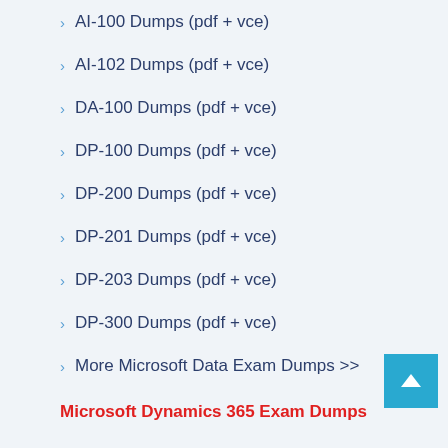AI-100 Dumps (pdf + vce)
AI-102 Dumps (pdf + vce)
DA-100 Dumps (pdf + vce)
DP-100 Dumps (pdf + vce)
DP-200 Dumps (pdf + vce)
DP-201 Dumps (pdf + vce)
DP-203 Dumps (pdf + vce)
DP-300 Dumps (pdf + vce)
More Microsoft Data Exam Dumps >>
Microsoft Dynamics 365 Exam Dumps
MB-200 Dumps (pdf + vce)
MB-210 Dumps (pdf + vce)
MB-220 Dumps (pdf + vce)
MB-230 Dumps (pdf + vce)
MB-240 Dumps (pdf + vce)